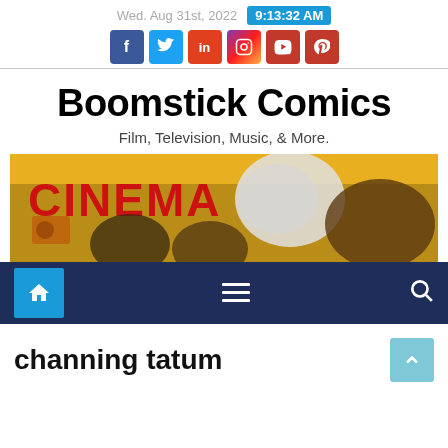Wed. Aug 31st, 2022  9:13:32 AM
Boomstick Comics
Film, Television, Music, & More.
[Figure (illustration): Cinema banner image showing vintage movie poster style artwork with the word CINEMA in red letters, a megaphone, a camera, and stylized faces on a yellow background]
[Figure (infographic): Dark navy navigation bar with a cyan home icon button on the left, a hamburger menu icon in the center, and a search icon on the right]
channing tatum